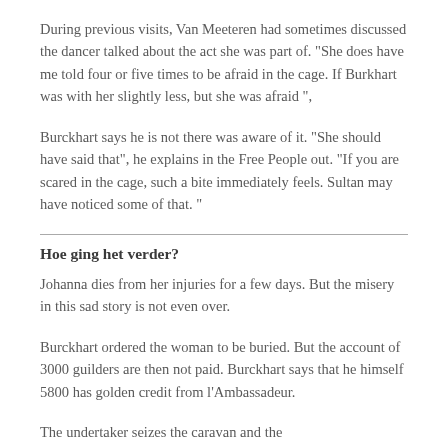During previous visits, Van Meeteren had sometimes discussed the dancer talked about the act she was part of. "She does have me told four or five times to be afraid in the cage. If Burkhart was with her slightly less, but she was afraid ",
Burckhart says he is not there was aware of it. "She should have said that", he explains in the Free People out. "If you are scared in the cage, such a bite immediately feels. Sultan may have noticed some of that. "
Hoe ging het verder?
Johanna dies from her injuries for a few days. But the misery in this sad story is not even over.
Burckhart ordered the woman to be buried. But the account of 3000 guilders are then not paid. Burckhart says that he himself 5800 has golden credit from l'Ambassadeur.
The undertaker seizes the caravan and the